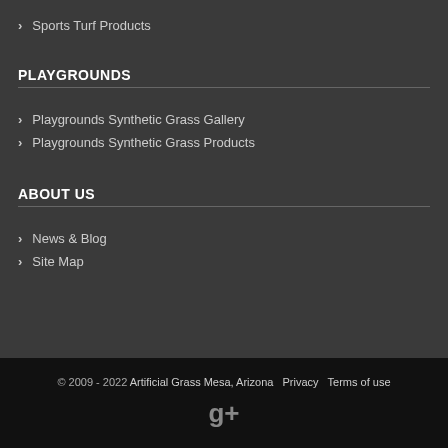Sports Turf Products
PLAYGROUNDS
Playgrounds Synthetic Grass Gallery
Playgrounds Synthetic Grass Products
ABOUT US
News & Blog
Site Map
© 2009 - 2022 Artificial Grass Mesa, Arizona   Privacy   Terms of use